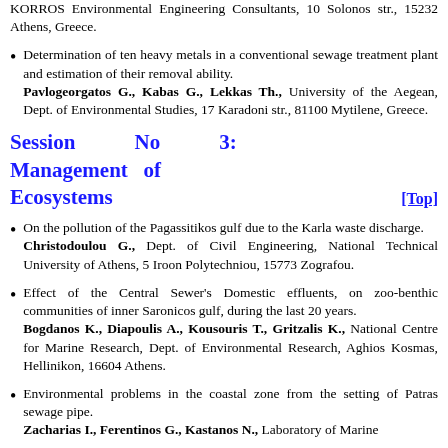KORROS Environmental Engineering Consultants, 10 Solonos str., 15232 Athens, Greece.
Determination of ten heavy metals in a conventional sewage treatment plant and estimation of their removal ability. Pavlogeorgatos G., Kabas G., Lekkas Th., University of the Aegean, Dept. of Environmental Studies, 17 Karadoni str., 81100 Mytilene, Greece.
Session No 3: Management of Ecosystems [Top]
On the pollution of the Pagassitikos gulf due to the Karla waste discharge. Christodoulou G., Dept. of Civil Engineering, National Technical University of Athens, 5 Iroon Polytechniou, 15773 Zografou.
Effect of the Central Sewer's Domestic effluents, on zoo-benthic communities of inner Saronicos gulf, during the last 20 years. Bogdanos K., Diapoulis A., Kousouris T., Gritzalis K., National Centre for Marine Research, Dept. of Environmental Research, Aghios Kosmas, Hellinikon, 16604 Athens.
Environmental problems in the coastal zone from the setting of Patras sewage pipe. Zacharias I., Ferentinos G., Kastanos N., Laboratory of Marine